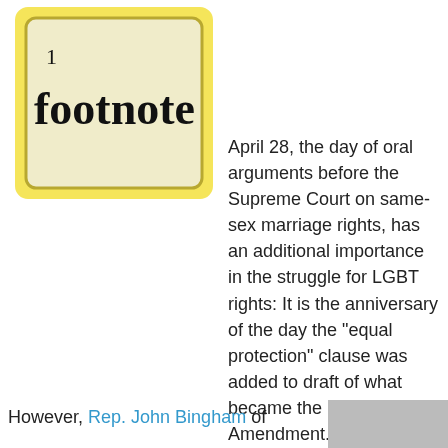[Figure (illustration): A square tile with a yellow border on a cream/beige background, containing superscript '1' and the bold word 'footnote' in large black serif-like font.]
April 28, the day of oral arguments before the Supreme Court on same-sex marriage rights, has an additional importance in the struggle for LGBT rights: It is the anniversary of the day the "equal protection" clause was added to draft of what became the 14th Amendment.
Originally, the Congressional Joint Committee on Reconstruction, charged with drafting Constitutional amendments in the wake of the Civil War, was going to have the Amendment to say "No discrimination shall be made by any State, or by the United States, as to the civil rights of persons because of race, color, or previous condition of servitude." That is, the protection was solely and specifically based on race.
However, Rep. John Bingham of